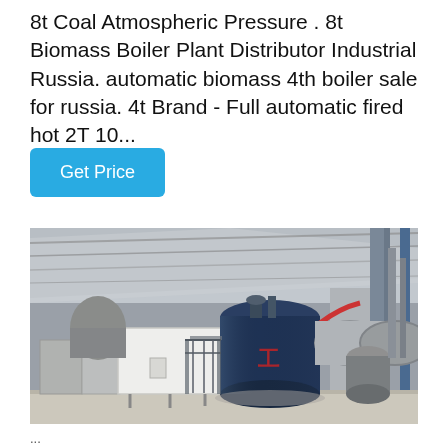8t Coal Atmospheric Pressure . 8t Biomass Boiler Plant Distributor Industrial Russia. automatic biomass 4th boiler sale for russia. 4t Brand - Full automatic fired hot 2T 10...
[Figure (other): Get Price button — rounded rectangle in sky blue/cyan color]
[Figure (photo): Industrial boiler plant interior showing a large dark blue cylindrical boiler in the center, white control box on the left, gray piping, cylindrical tank on the right, metal roof structure with skylights, light-colored concrete floor.]
...